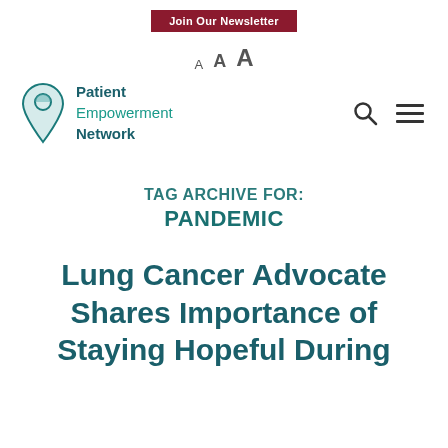Join Our Newsletter
A A A
[Figure (logo): Patient Empowerment Network logo with location pin icon and teal text]
TAG ARCHIVE FOR: PANDEMIC
Lung Cancer Advocate Shares Importance of Staying Hopeful During